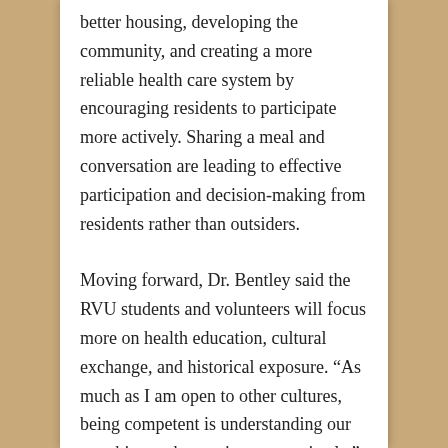better housing, developing the community, and creating a more reliable health care system by encouraging residents to participate more actively. Sharing a meal and conversation are leading to effective participation and decision-making from residents rather than outsiders.
Moving forward, Dr. Bentley said the RVU students and volunteers will focus more on health education, cultural exchange, and historical exposure. “As much as I am open to other cultures, being competent is understanding our own biases, then acting appropriately,” she said. “This learning process goes on